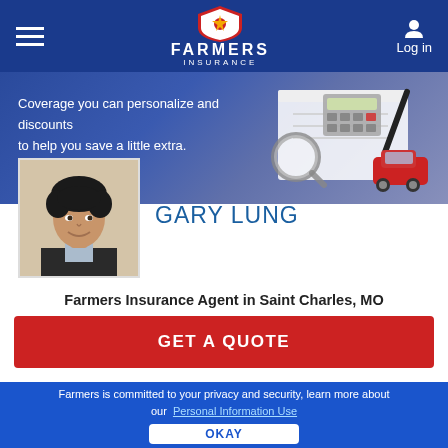Farmers Insurance — Navigation bar with hamburger menu, Farmers logo, and Log in button
[Figure (screenshot): Farmers Insurance website banner with text: Coverage you can personalize and discounts to help you save a little extra. Background shows a desk with magnifying glass, calculator, notepad and red toy car.]
[Figure (photo): Headshot photo of Gary Lung, a male insurance agent with dark curly hair wearing a dark suit jacket]
GARY LUNG
Farmers Insurance Agent in Saint Charles, MO
GET A QUOTE
Farmers is committed to your privacy and security, learn more about our Personal Information Use OKAY